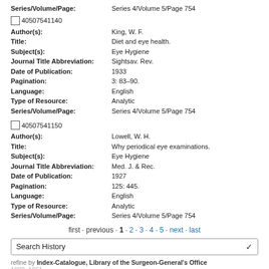Series/Volume/Page: Series 4/Volume 5/Page 754
40507541140
Author(s): King, W. F.
Title: Diet and eye health.
Subject(s): Eye Hygiene
Journal Title Abbreviation: Sightsav. Rev.
Date of Publication: 1933
Pagination: 3: 83-90.
Language: English
Type of Resource: Analytic
Series/Volume/Page: Series 4/Volume 5/Page 754
40507541150
Author(s): Lowell, W. H.
Title: Why periodical eye examinations.
Subject(s): Eye Hygiene
Journal Title Abbreviation: Med. J. & Rec.
Date of Publication: 1927
Pagination: 125: 445.
Language: English
Type of Resource: Analytic
Series/Volume/Page: Series 4/Volume 5/Page 754
first · previous · 1 · 2 · 3 · 4 · 5 · next · last
Search History
refine by Index-Catalogue, Library of the Surgeon-General's Office 1880-1961